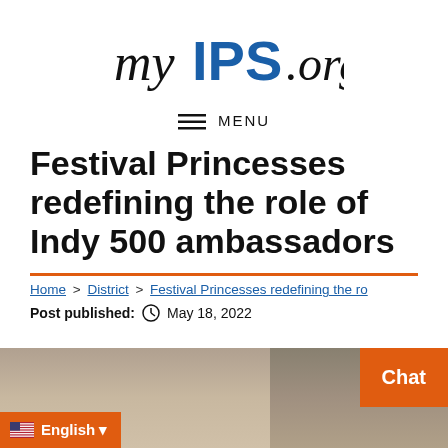[Figure (logo): myIPS.org logo with 'my' in black cursive, 'IPS' in bold blue block letters, '.org' in black cursive]
≡ MENU
Festival Princesses redefining the role of Indy 500 ambassadors
Home > District > Festival Princesses redefining the ro
Post published: May 18, 2022
[Figure (photo): Left photo showing person in room with curtains]
[Figure (photo): Right photo showing shelving unit with items]